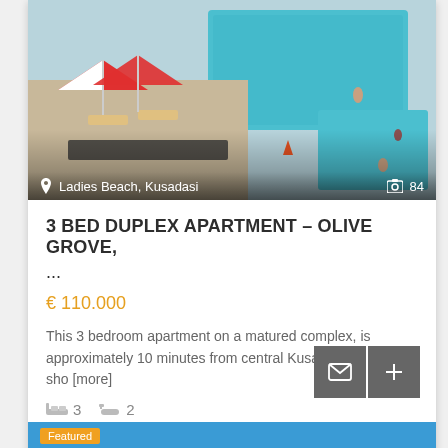[Figure (photo): Aerial view of a swimming pool area with red-and-white beach umbrellas, sun loungers, and a second pool, at a residential complex in Kusadasi, Turkey.]
Ladies Beach, Kusadasi
84
3 BED DUPLEX APARTMENT – OLIVE GROVE, ...
€ 110.000
This 3 bedroom apartment on a matured complex, is approximately 10 minutes from central Kusadasi.  It is just a sho [more]
3  2
admin